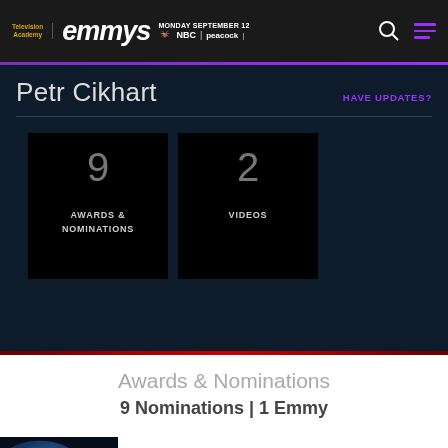Television Academy | emmys | MONDAY SEPTEMBER 12 | NBC | peacock
Petr Cikhart
HAVE UPDATES?
9 AWARDS & NOMINATIONS
2 VIDEOS
Awards & Nominations
9 Nominations | 1 Emmy
Outstanding Cinematography For A